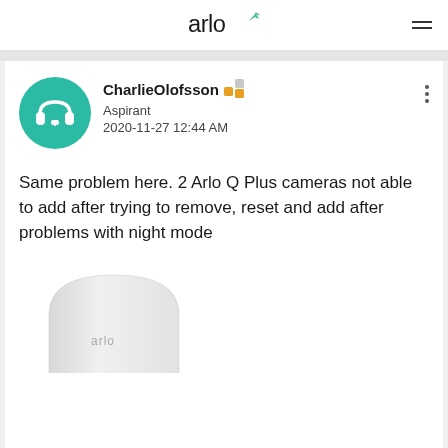arlo
[Figure (screenshot): Arlo community forum post by CharlieOlofsson (Aspirant), dated 2020-11-27 12:44 AM, with a teal headphone avatar icon, rank badge, and three-dot menu. Post text: 'Same problem here. 2 Arlo Q Plus cameras not able to add after trying to remove, reset and add after problems with night mode'. Below is a partial photo of an Arlo base station device.]